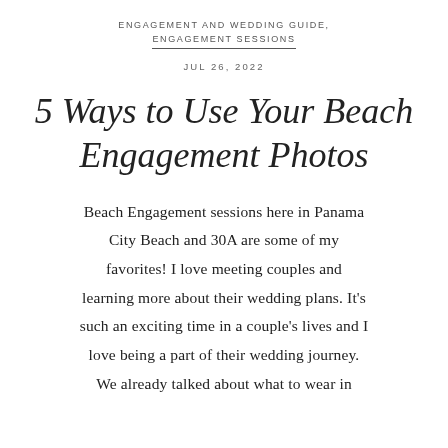ENGAGEMENT AND WEDDING GUIDE, ENGAGEMENT SESSIONS
JUL 26, 2022
5 Ways to Use Your Beach Engagement Photos
Beach Engagement sessions here in Panama City Beach and 30A are some of my favorites! I love meeting couples and learning more about their wedding plans. It's such an exciting time in a couple's lives and I love being a part of their wedding journey. We already talked about what to wear in